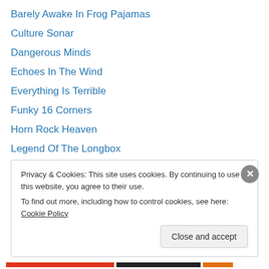Barely Awake In Frog Pajamas
Culture Sonar
Dangerous Minds
Echoes In The Wind
Everything Is Terrible
Funky 16 Corners
Horn Rock Heaven
Legend Of The Longbox
Made For TV Mayhem
Neck Pickup
PCL Link Dump
Rag Mama Rag
Really Really Smooth Music
Privacy & Cookies: This site uses cookies. By continuing to use this website, you agree to their use. To find out more, including how to control cookies, see here: Cookie Policy
Close and accept